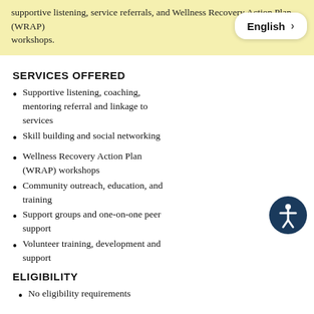supportive listening, service referrals, and Wellness Recovery Action Plan (WRAP) workshops.
SERVICES OFFERED
Supportive listening, coaching, mentoring referral and linkage to services
Skill building and social networking
Wellness Recovery Action Plan (WRAP) workshops
Community outreach, education, and training
Support groups and one-on-one peer support
Volunteer training, development and support
ELIGIBILITY
No eligibility requirements